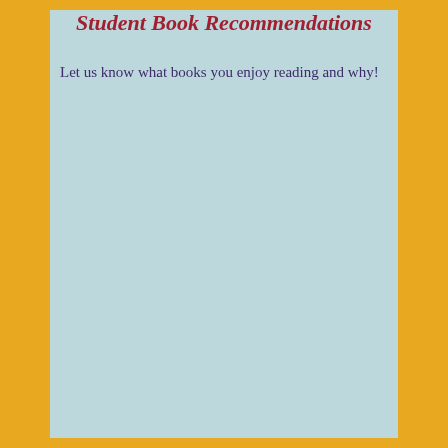Student Book Recommendations
Let us know what books you enjoy reading and why!